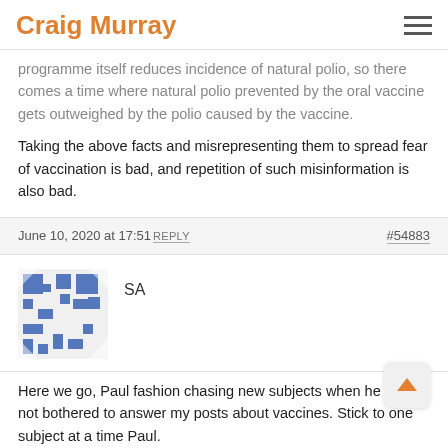Craig Murray
programme itself reduces incidence of natural polio, so there comes a time where natural polio prevented by the oral vaccine gets outweighed by the polio caused by the vaccine.
Taking the above facts and misrepresenting them to spread fear of vaccination is bad, and repetition of such misinformation is also bad.
June 10, 2020 at 17:51 REPLY   #54883
SA
Here we go, Paul fashion chasing new subjects when he has not bothered to answer my posts about vaccines. Stick to one subject at a time Paul.
June 10, 2020 at 17:52 REPLY   #54884